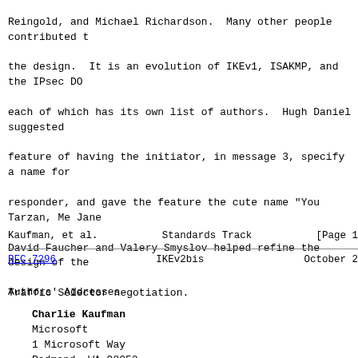Reingold, and Michael Richardson.  Many other people contributed to the design.  It is an evolution of IKEv1, ISAKMP, and the IPsec DO each of which has its own list of authors.  Hugh Daniel suggested feature of having the initiator, in message 3, specify a name for responder, and gave the feature the cute name "You Tarzan, Me Jane David Faucher and Valery Smyslov helped refine the design of the Traffic Selector negotiation.
Kaufman, et al.                Standards Track                    [Page 1
RFC 7296                         IKEv2bis                       October 2
Authors' Addresses
Charlie Kaufman
Microsoft
1 Microsoft Way
Redmond, WA  98052